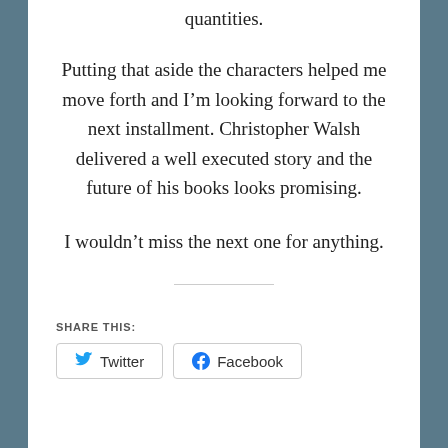quantities.
Putting that aside the characters helped me move forth and I'm looking forward to the next installment. Christopher Walsh delivered a well executed story and the future of his books looks promising.
I wouldn't miss the next one for anything.
SHARE THIS:
[Figure (other): Twitter and Facebook share buttons]